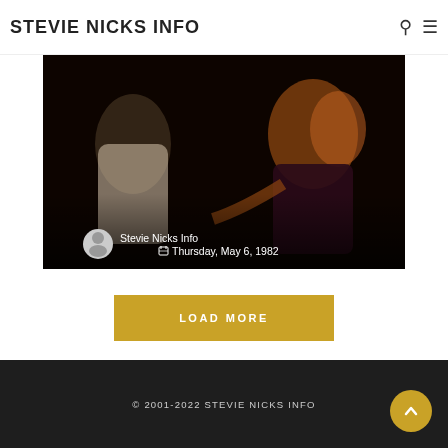STEVIE NICKS INFO
[Figure (photo): Dark photo of two women, one in white patterned top and one in dark lace top, taken on stage or at a dark event. Overlaid with author name 'Stevie Nicks Info' and date 'Thursday, May 6, 1982'.]
LOAD MORE
© 2001-2022 STEVIE NICKS INFO